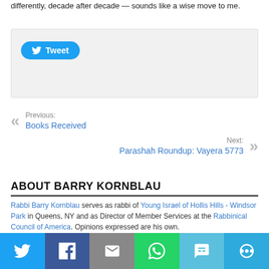differently, decade after decade — sounds like a wise move to me.
[Figure (screenshot): Twitter Tweet button embedded widget on light grey background]
Previous: Books Received
Next: Parashah Roundup: Vayera 5773
ABOUT BARRY KORNBLAU
Rabbi Barry Kornblau serves as rabbi of Young Israel of Hollis Hills - Windsor Park in Queens, NY and as Director of Member Services at the Rabbinical Council of America. Opinions expressed are his own.
[Figure (infographic): Social share bar with Twitter, Facebook, Email, WhatsApp, SMS, and More buttons]